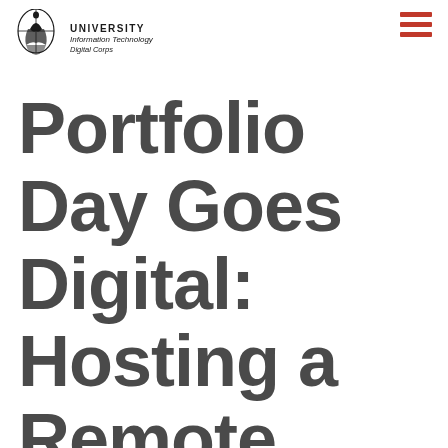UNIVERSITY Information Technology Digital Corps
Portfolio Day Goes Digital: Hosting a Remote